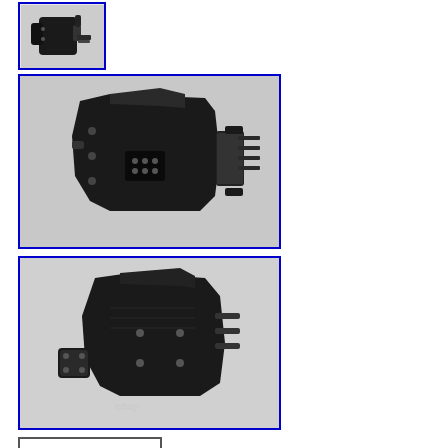[Figure (photo): Small thumbnail image of a black tactical gun holster with blue border]
[Figure (photo): Main product photo of a black Kydex tactical gun holster with mounting hardware, front view, with eBay watermark]
[Figure (photo): Main product photo of a black Kydex tactical gun holster, rear/side view, with eBay watermark]
Details on eBay